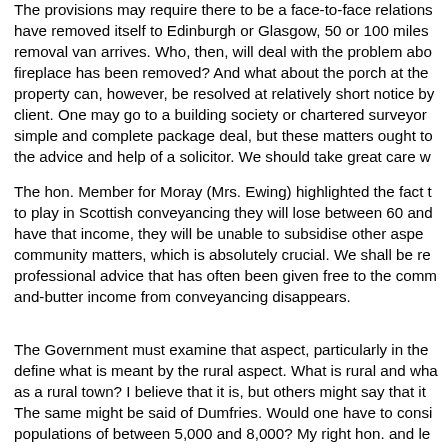The provisions may require there to be a face-to-face relations have removed itself to Edinburgh or Glasgow, 50 or 100 miles removal van arrives. Who, then, will deal with the problem abo fireplace has been removed? And what about the porch at the property can, however, be resolved at relatively short notice by client. One may go to a building society or chartered surveyor simple and complete package deal, but these matters ought to the advice and help of a solicitor. We should take great care w
The hon. Member for Moray (Mrs. Ewing) highlighted the fact t to play in Scottish conveyancing they will lose between 60 and have that income, they will be unable to subsidise other aspe community matters, which is absolutely crucial. We shall be re professional advice that has often been given free to the comm and-butter income from conveyancing disappears.
The Government must examine that aspect, particularly in the define what is meant by the rural aspect. What is rural and wha as a rural town? I believe that it is, but others might say that it The same might be said of Dumfries. Would one have to consi populations of between 5,000 and 8,000? My right hon. and le